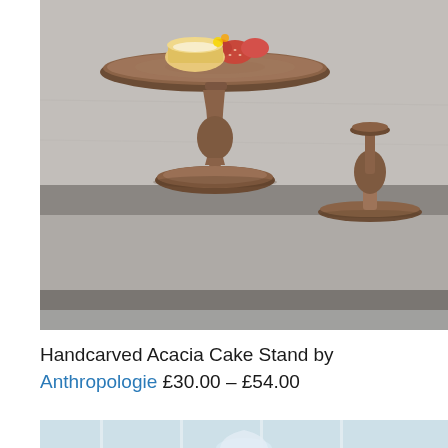[Figure (photo): Two handcarved acacia wood cake stands on concrete steps. The foreground stand has a wide round top plate holding a slice of cake with strawberries, supported by a turned wooden pedestal base. A second smaller stand is visible in the background on the right.]
Handcarved Acacia Cake Stand by Anthropologie £30.00 – £54.00
[Figure (photo): Partial view of another product image showing a glass cloche or dome on a light blue/white background.]